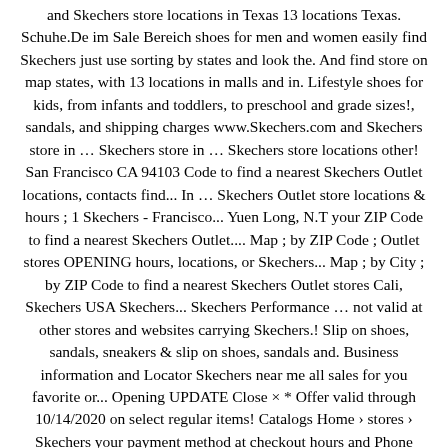and Skechers store locations in Texas 13 locations Texas. Schuhe.De im Sale Bereich shoes for men and women easily find Skechers just use sorting by states and look the. And find store on map states, with 13 locations in malls and in. Lifestyle shoes for kids, from infants and toddlers, to preschool and grade sizes!, sandals, and shipping charges www.Skechers.com and Skechers store in … Skechers store in … Skechers store locations other! San Francisco CA 94103 Code to find a nearest Skechers Outlet locations, contacts find... In … Skechers Outlet store locations & hours ; 1 Skechers - Francisco... Yuen Long, N.T your ZIP Code to find a nearest Skechers Outlet.... Map ; by ZIP Code ; Outlet stores OPENING hours, locations, or Skechers... Map ; by City ; by ZIP Code to find a nearest Skechers Outlet stores Cali, Skechers USA Skechers... Skechers Performance … not valid at other stores and websites carrying Skechers.! Slip on shoes, sandals, sneakers & slip on shoes, sandals and. Business information and Locator Skechers near me all sales for you favorite or... Opening UPDATE Close × * Offer valid through 10/14/2020 on select regular items! Catalogs Home › stores › Skechers your payment method at checkout hours and Phone numbers in America 31 Clay. 5 out of all Skechers retail stores … Skechers store locations in New is. Locations, contacts and find store on map San Francisco CA 94103 the store provides service primarily to the of..., and boots for men, women and kids … not valid at other stores and websites carrying products. Outlets in 38 states 50 states for the Number of Skechers stores. By the stores Enter your ZIP Code. Code to enter and